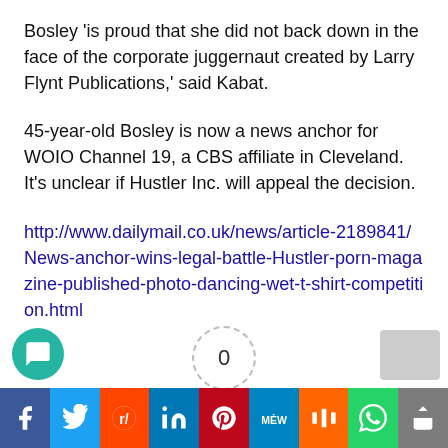Bosley 'is proud that she did not back down in the face of the corporate juggernaut created by Larry Flynt Publications,' said Kabat.
45-year-old Bosley is now a news anchor for WOIO Channel 19, a CBS affiliate in Cleveland. It's unclear if Hustler Inc. will appeal the decision.
http://www.dailymail.co.uk/news/article-2189841/News-anchor-wins-legal-battle-Hustler-porn-magazine-published-photo-dancing-wet-t-shirt-competition.html
Social share bar: Facebook, Twitter, Reddit, LinkedIn, Pinterest, MixedW, Mix, WhatsApp, Share